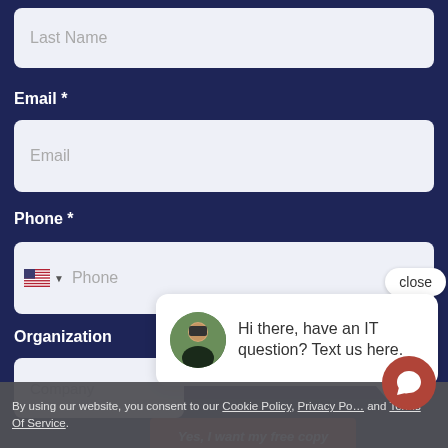Last Name
Email *
Email
Phone *
Phone
close
Organization
Company
Hi there, have an IT question? Text us here.
Yes, I want my free copy
By using our website, you consent to our Cookie Policy, Privacy Policy and Terms Of Service.